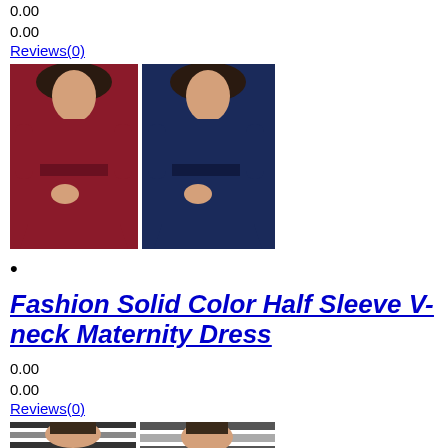0.00
0.00
Reviews(0)
[Figure (photo): Two pregnant women modeling maternity wrap dresses: one in dark red/burgundy and one in navy blue, both with half sleeves and V-neck.]
•
Fashion Solid Color Half Sleeve V-neck Maternity Dress
0.00
0.00
Reviews(0)
[Figure (photo): Two women modeling striped maternity dresses, partially visible at bottom of page.]